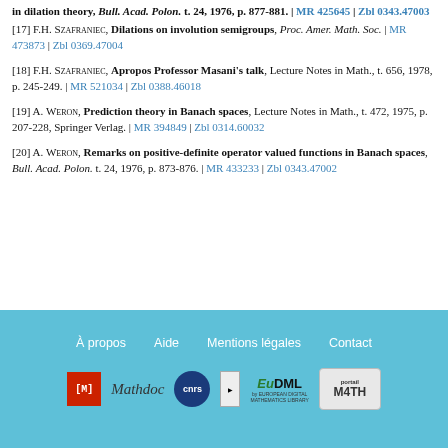[17] F.H. Szafraniec, Dilations on involution semigroups, Proc. Amer. Math. Soc. | MR 473873 | Zbl 0369.47004
[18] F.H. Szafraniec, Apropos Professor Masani's talk, Lecture Notes in Math., t. 656, 1978, p. 245-249. | MR 521034 | Zbl 0388.46018
[19] A. Weron, Prediction theory in Banach spaces, Lecture Notes in Math., t. 472, 1975, p. 207-228, Springer Verlag. | MR 394849 | Zbl 0314.60032
[20] A. Weron, Remarks on positive-definite operator valued functions in Banach spaces, Bull. Acad. Polon. t. 24, 1976, p. 873-876. | MR 433233 | Zbl 0343.47002
À propos | Aide | Mentions légales | Contact